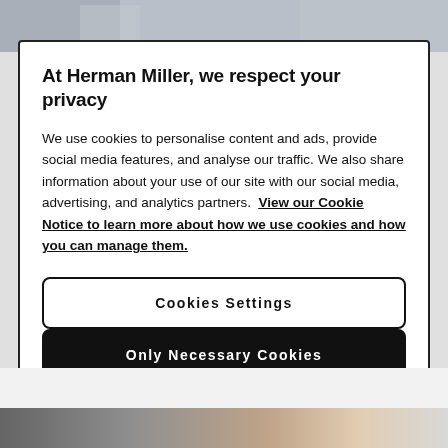[Figure (photo): Blurred/desaturated background photo visible at the top of the page behind the modal dialog]
At Herman Miller, we respect your privacy
We use cookies to personalise content and ads, provide social media features, and analyse our traffic. We also share information about your use of our site with our social media, advertising, and analytics partners. View our Cookie Notice to learn more about how we use cookies and how you can manage them.
Cookies Settings
Only Necessary Cookies
Accept All Cookies
[Figure (photo): Partial photograph visible at the bottom of the page showing furniture or interior scene with red and warm tones]